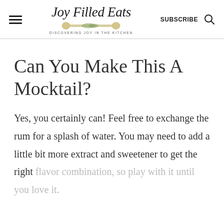Joy Filled Eats — DISCOVERING JOY IN THE KITCHEN
Can You Make This A Mocktail?
Yes, you certainly can! Feel free to exchange the rum for a splash of water. You may need to add a little bit more extract and sweetener to get the right flavor combination, so play with it until you love it.